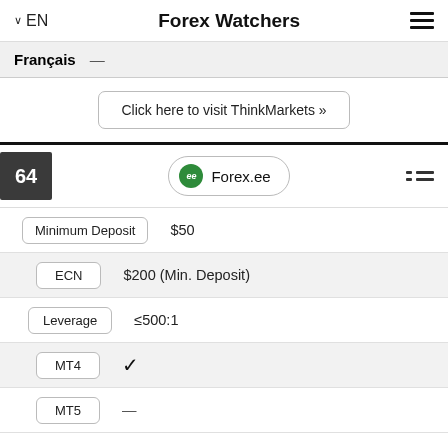EN   Forex Watchers
Français —
Click here to visit ThinkMarkets »
64   Forex.ee
| Feature | Value |
| --- | --- |
| Minimum Deposit | $50 |
| ECN | $200 (Min. Deposit) |
| Leverage | ≤500:1 |
| MT4 | ✓ |
| MT5 | — |